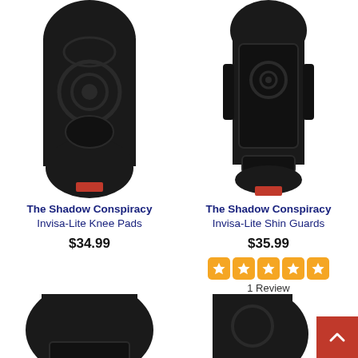[Figure (photo): The Shadow Conspiracy Invisa-Lite Knee Pads product photo - black protective knee pad]
The Shadow Conspiracy
Invisa-Lite Knee Pads
$34.99
[Figure (photo): The Shadow Conspiracy Invisa-Lite Shin Guards product photo - black protective shin guard]
The Shadow Conspiracy
Invisa-Lite Shin Guards
$35.99
1 Review
[Figure (photo): Partial product photo bottom left - black protective gear]
[Figure (photo): Partial product photo bottom right - black protective gear]